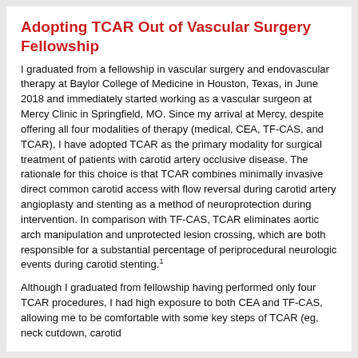Adopting TCAR Out of Vascular Surgery Fellowship
I graduated from a fellowship in vascular surgery and endovascular therapy at Baylor College of Medicine in Houston, Texas, in June 2018 and immediately started working as a vascular surgeon at Mercy Clinic in Springfield, MO. Since my arrival at Mercy, despite offering all four modalities of therapy (medical, CEA, TF-CAS, and TCAR), I have adopted TCAR as the primary modality for surgical treatment of patients with carotid artery occlusive disease. The rationale for this choice is that TCAR combines minimally invasive direct common carotid access with flow reversal during carotid artery angioplasty and stenting as a method of neuroprotection during intervention. In comparison with TF-CAS, TCAR eliminates aortic arch manipulation and unprotected lesion crossing, which are both responsible for a substantial percentage of periprocedural neurologic events during carotid stenting.¹
Although I graduated from fellowship having performed only four TCAR procedures, I had high exposure to both CEA and TF-CAS, allowing me to be comfortable with some key steps of TCAR (eg, neck cutdown, carotid